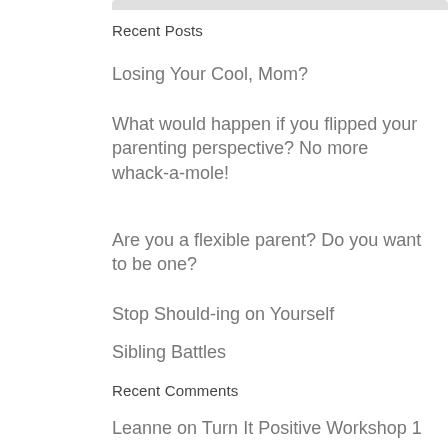Recent Posts
Losing Your Cool, Mom?
What would happen if you flipped your parenting perspective? No more whack-a-mole!
Are you a flexible parent? Do you want to be one?
Stop Should-ing on Yourself
Sibling Battles
Recent Comments
Leanne on Turn It Positive Workshop 1
Vivian on Turn It Positive Workshop 1
Eugenia “Jane” Logvinova, MEd, BCBA on